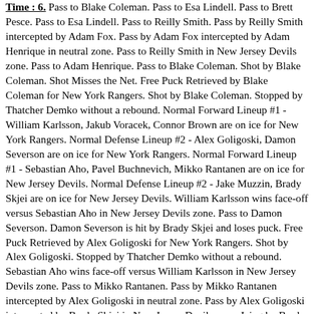Time : 6. Pass to Blake Coleman. Pass to Esa Lindell. Pass to Brett Pesce. Pass to Esa Lindell. Pass to Reilly Smith. Pass by Reilly Smith intercepted by Adam Fox. Pass by Adam Fox intercepted by Adam Henrique in neutral zone. Pass to Reilly Smith in New Jersey Devils zone. Pass to Adam Henrique. Pass to Blake Coleman. Shot by Blake Coleman. Shot Misses the Net. Free Puck Retrieved by Blake Coleman for New York Rangers. Shot by Blake Coleman. Stopped by Thatcher Demko without a rebound. Normal Forward Lineup #1 - William Karlsson, Jakub Voracek, Connor Brown are on ice for New York Rangers. Normal Defense Lineup #2 - Alex Goligoski, Damon Severson are on ice for New York Rangers. Normal Forward Lineup #1 - Sebastian Aho, Pavel Buchnevich, Mikko Rantanen are on ice for New Jersey Devils. Normal Defense Lineup #2 - Jake Muzzin, Brady Skjei are on ice for New Jersey Devils. William Karlsson wins face-off versus Sebastian Aho in New Jersey Devils zone. Pass to Damon Severson. Damon Severson is hit by Brady Skjei and loses puck. Free Puck Retrieved by Alex Goligoski for New York Rangers. Shot by Alex Goligoski. Stopped by Thatcher Demko without a rebound. Sebastian Aho wins face-off versus William Karlsson in New Jersey Devils zone. Pass to Mikko Rantanen. Pass by Mikko Rantanen intercepted by Alex Goligoski in neutral zone. Pass by Alex Goligoski intercepted by Brady Skjei in New Jersey Devils zone. Icing by Brady Skjei. William Karlsson wins face-off versus Sebastian Aho in New Jersey Devils zone. Pass to Jakub Voracek. Jakub Voracek is hit by Jake Muzzin and loses puck. Free Puck